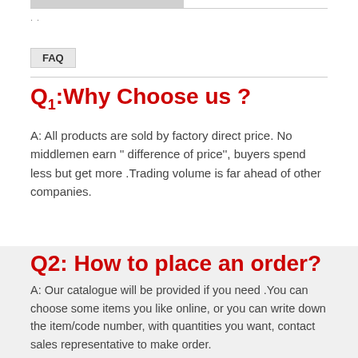FAQ
Q1:Why Choose us ?
A: All products are sold by factory direct price. No middlemen earn '' difference of price'', buyers spend less but get more .Trading volume is far ahead of other companies.
Q2: How to place an order?
A: Our catalogue will be provided if you need .You can choose some items you like online, or you can write down the item/code number, with quantities you want, contact sales representative to make order.